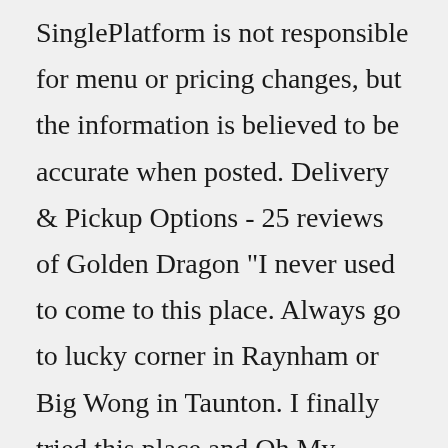SinglePlatform is not responsible for menu or pricing changes, but the information is believed to be accurate when posted. Delivery & Pickup Options - 25 reviews of Golden Dragon "I never used to come to this place. Always go to lucky corner in Raynham or Big Wong in Taunton. I finally tried this place and Oh My Goodness! This is by far the best Chinese food in Taunton. I love the chicken chow mein (small is like 3.50 nd large 6.50). I would definitely